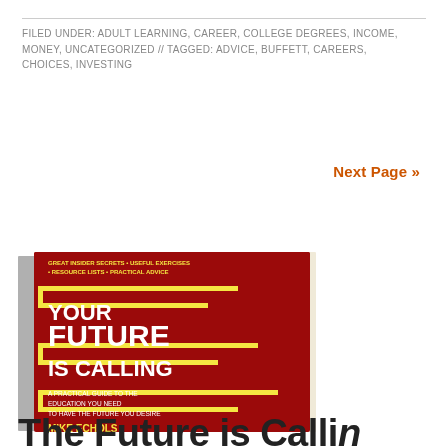FILED UNDER: ADULT LEARNING, CAREER, COLLEGE DEGREES, INCOME, MONEY, UNCATEGORIZED // TAGGED: ADVICE, BUFFETT, CAREERS, CHOICES, INVESTING
Next Page »
[Figure (photo): Book cover of 'Your Future Is Calling' by Mike Echols. Red cover with yellow horizontal lines and white bold text. Subtitle: A Practical Guide to the Education You Need to Have the Future You Desire.]
The Future is Callin...